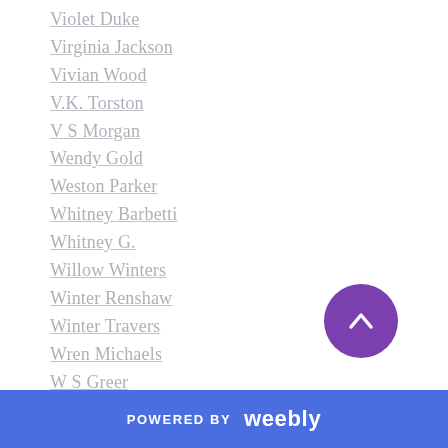Violet Duke
Virginia Jackson
Vivian Wood
V.K. Torston
V S Morgan
Wendy Gold
Weston Parker
Whitney Barbetti
Whitney G.
Willow Winters
Winter Renshaw
Winter Travers
Wren Michaels
W S Greer
Zachery Chopchinski
Z.B. Heller
ZB Heller
[Figure (other): Purple circular scroll-to-top button with upward chevron arrow]
POWERED BY weebly